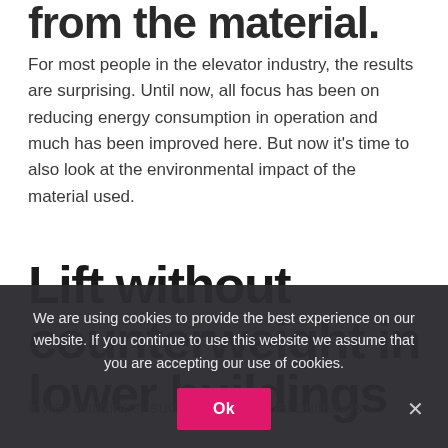from the material.
For most people in the elevator industry, the results are surprising. Until now, all focus has been on reducing energy consumption in operation and much has been improved here. But now it's time to also look at the environmental impact of the material used.
Lift without counterweight in lower buildings
[Cookie overlay] We are using cookies to provide the best experience on our website. If you continue to use this website we assume that you are accepting our use of cookies.